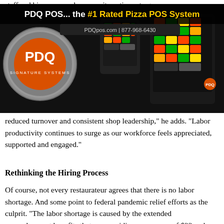staff and hire new employees as it continues to grow, Lastoria says. The company opened its 51st store in July and expects to finish 2021 with 65 locations. "We see an average year-over-year sales increase of 300 to 500 basis points [or 3% to 5%] through
[Figure (advertisement): PDQ POS advertisement banner - The #1 Rated Pizza POS System, showing POS terminals with colorful buttons, PDQpos.com 1-877-968-6430, with PDQ Signature Systems logo]
reduced turnover and consistent shop leadership," he adds. "Labor productivity continues to surge as our workforce feels appreciated, supported and engaged."
Rethinking the Hiring Process
Of course, not every restaurateur agrees that there is no labor shortage. And some point to federal pandemic relief efforts as the culprit. "The labor shortage is caused by the extended unemployment benefits that are providing an average of $22 an hour to people for staying home," says Anthony Russo, head chef and founder of Russo's New York Pizzeria